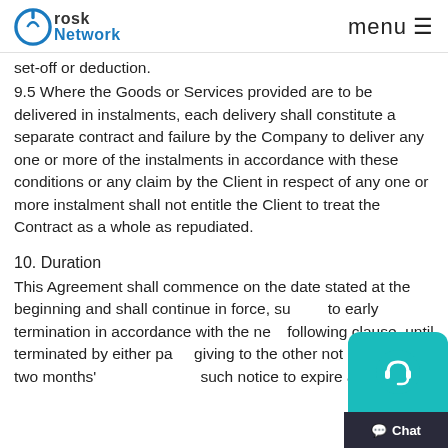Orosk Network | menu
set-off or deduction.
9.5 Where the Goods or Services provided are to be delivered in instalments, each delivery shall constitute a separate contract and failure by the Company to deliver any one or more of the instalments in accordance with these conditions or any claim by the Client in respect of any one or more instalment shall not entitle the Client to treat the Contract as a whole as repudiated.
10. Duration
This Agreement shall commence on the date stated at the beginning and shall continue in force, subject to early termination in accordance with the next following clause, until terminated by either party giving to the other not less than two months' notice such notice to expire at any time.